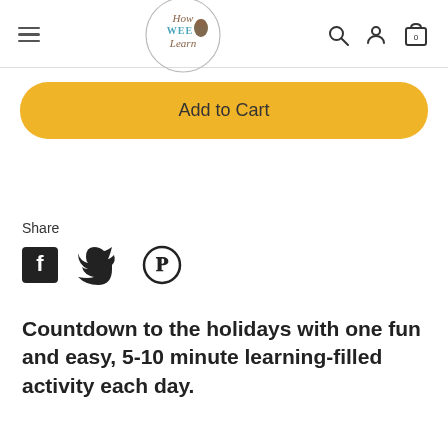How Wee Learn — navigation bar with hamburger menu, logo, search, account, and cart icons
Add to Cart
Share
[Figure (illustration): Social share icons: Facebook, Twitter, Pinterest]
Countdown to the holidays with one fun and easy, 5-10 minute learning-filled activity each day.